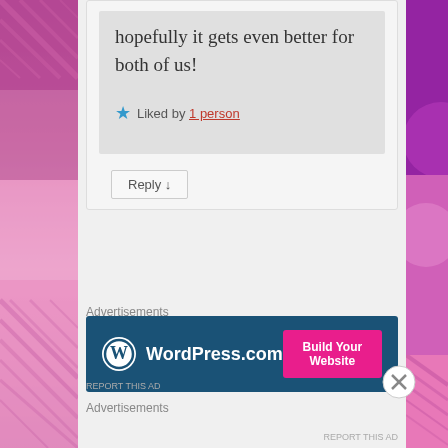hopefully it gets even better for both of us!
Liked by 1 person
Reply ↓
Advertisements
[Figure (screenshot): WordPress.com advertisement banner with dark blue background, WordPress logo on left, and pink 'Build Your Website' button on right]
REPORT THIS AD
Advertisements
REPORT THIS AD